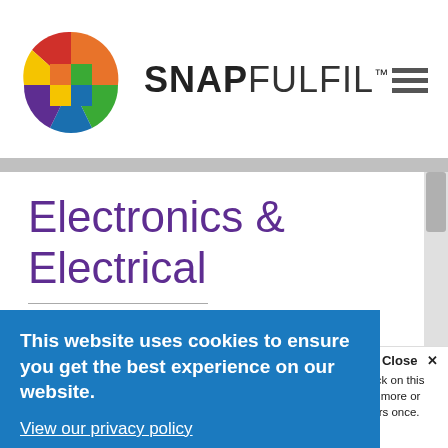[Figure (logo): SnapFulfil logo with colorful pinwheel circle and bold wordmark with hamburger menu icon]
Electronics & Electrical
The control of electrical components can be challenging. Thankfully, SnapFulfil helps reduce errors and improve accuracy through real-time inventory visibility, highly efficient put-away/replenishment/picking processes and experience of lot/serial number management.
This website uses cookies to ensure you get the best experience on our website. View our privacy policy
Accept and Close ✕ Your browser settings do not allow cross-site tracking for advertising. Click on this page to allow AdRoll to use cross-site tracking to tailor ads to you. Learn more or opt out of this AdRoll tracking by clicking here. This message only appears once.